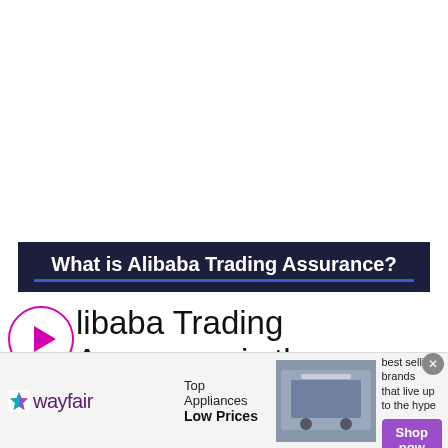What is Alibaba Trading Assurance?
Alibaba Trading Assurance is the platform where business owners can buy a
[Figure (screenshot): Wayfair advertisement banner: Top Appliances Low Prices, Save on best selling brands that live up to the hype, Shop now button]